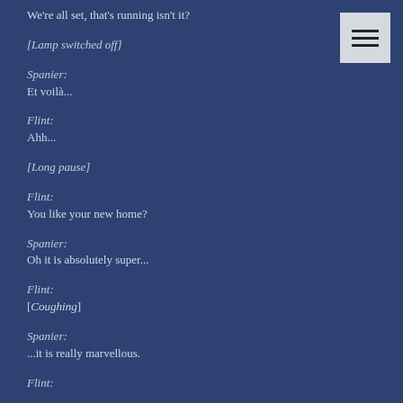We're all set, that's running isn't it?
[Lamp switched off]
Spanier:
Et voilà...
Flint:
Ahh...
[Long pause]
Flint:
You like your new home?
Spanier:
Oh it is absolutely super...
Flint:
[Coughing]
Spanier:
...it is really marvellous.
Flint: